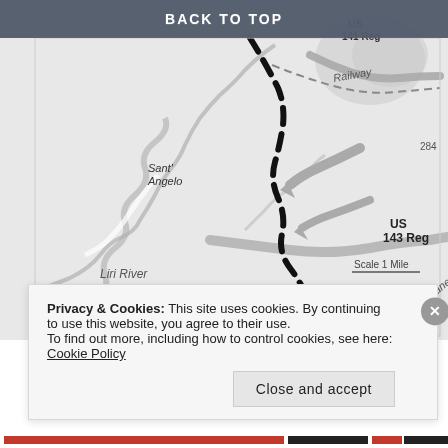BACK TO TOP
[Figure (map): Military operations map showing the area around Sant'Angelo, the Liri River, Garigliano river, a railway line, and US 141 Reg and US 143 Reg unit positions. A dashed line indicates a front or boundary line running diagonally. Gray arrows show movement directions. Scale: 1 Mile indicated.]
Privacy & Cookies: This site uses cookies. By continuing to use this website, you agree to their use.
To find out more, including how to control cookies, see here: Cookie Policy
Close and accept